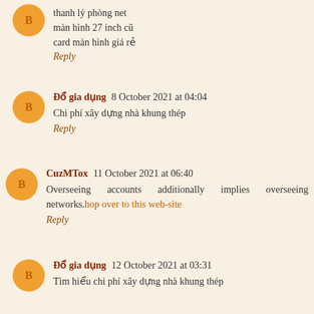thanh lý phòng net
màn hình 27 inch cũ
card màn hình giá rẻ
Reply
Đổ gia dụng  8 October 2021 at 04:04
Chi phí xây dựng nhà khung thép
Reply
CuzMTox  11 October 2021 at 06:40
Overseeing accounts additionally implies overseeing networks.hop over to this web-site
Reply
Đổ gia dụng  12 October 2021 at 03:31
Tìm hiểu chi phí xây dựng nhà khung thép